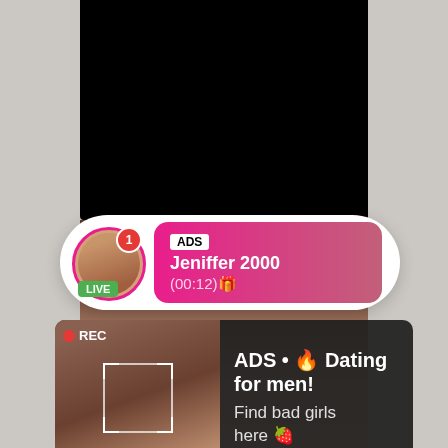[Figure (screenshot): Screenshot mockup showing a phone screen (black top area), a notification pill with a live avatar labeled 'ADS Jeniffer 2000 (00:12)' with LIVE badge, and a bottom ad block with a REC video thumbnail and text 'ADS • Dating for men! Find bad girls here']
ADS Jeniffer 2000 (00:12)
ADS • Dating for men! Find bad girls here